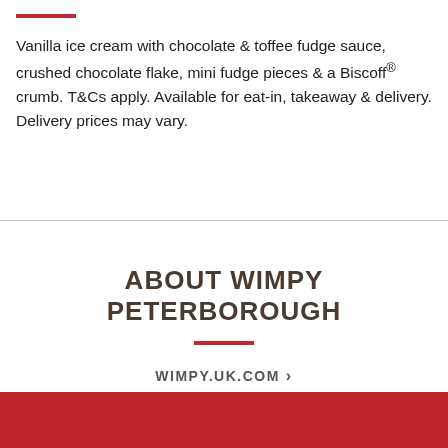Vanilla ice cream with chocolate & toffee fudge sauce, crushed chocolate flake, mini fudge pieces & a Biscoff® crumb. T&Cs apply. Available for eat-in, takeaway & delivery. Delivery prices may vary.
ABOUT WIMPY PETERBOROUGH
WIMPY.UK.COM >
[Figure (other): Red banner/background at the bottom of the page]